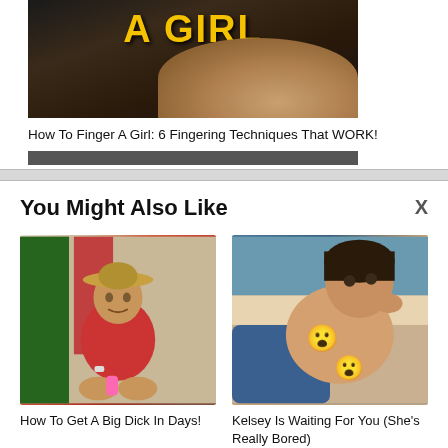[Figure (photo): Dark moody image with yellow text reading 'A GIRL' and a partial face of a blonde woman with dark nails]
How To Finger A Girl: 6 Fingering Techniques That WORK!
[Figure (photo): Partial strip/banner image]
You Might Also Like
[Figure (photo): Man wearing a hat and red shirt sitting cross-legged]
How To Get A Big Dick In Days!
[Figure (photo): Young woman with emoji censorship overlaid]
Kelsey Is Waiting For You (She's Really Bored)